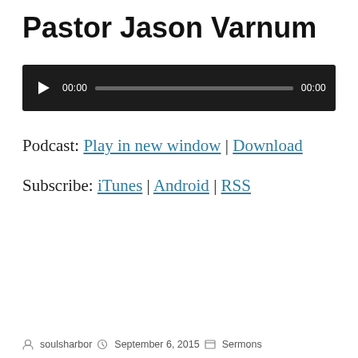Pastor Jason Varnum
[Figure (other): Audio player bar with play button, time display 00:00, progress bar, and end time 00:00 on a dark background]
Podcast: Play in new window | Download
Subscribe: iTunes | Android | RSS
soulsharbor   September 6, 2015   Sermons